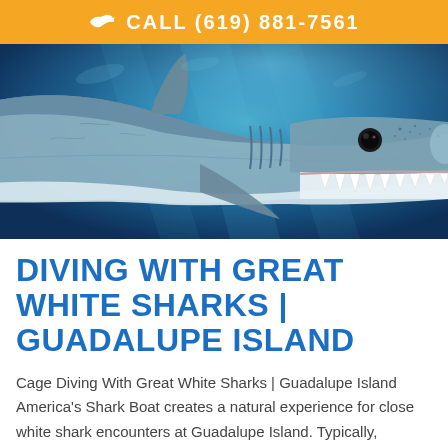CALL (619) 881-7561
[Figure (photo): Close-up underwater photograph of a great white shark facing the camera with open mouth showing teeth, against a deep blue ocean background]
DIVING WITH GREAT WHITE SHARKS | GUADALUPE ISLAND
Cage Diving With Great White Sharks | Guadalupe Island America's Shark Boat creates a natural experience for close white shark encounters at Guadalupe Island. Typically, encounters last...